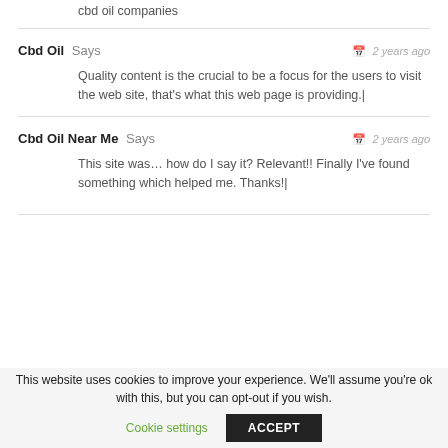cbd oil companies
Cbd Oil Says  ·  2 years ago
Quality content is the crucial to be a focus for the users to visit the web site, that's what this web page is providing.|
Cbd Oil Near Me Says  ·  2 years ago
This site was… how do I say it? Relevant!! Finally I've found something which helped me. Thanks!|
This website uses cookies to improve your experience. We'll assume you're ok with this, but you can opt-out if you wish.
Cookie settings   ACCEPT